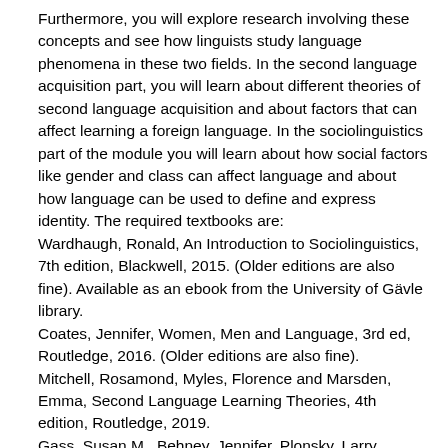Furthermore, you will explore research involving these concepts and see how linguists study language phenomena in these two fields. In the second language acquisition part, you will learn about different theories of second language acquisition and about factors that can affect learning a foreign language. In the sociolinguistics part of the module you will learn about how social factors like gender and class can affect language and about how language can be used to define and express identity. The required textbooks are: Wardhaugh, Ronald, An Introduction to Sociolinguistics, 7th edition, Blackwell, 2015. (Older editions are also fine). Available as an ebook from the University of Gävle library. Coates, Jennifer, Women, Men and Language, 3rd ed, Routledge, 2016. (Older editions are also fine). Mitchell, Rosamond, Myles, Florence and Marsden, Emma, Second Language Learning Theories, 4th edition, Routledge, 2019. Gass, Susan M., Behney, Jennifer, Plonsky, Larry, Second Language Acquisition, an Introductory Course, 5th edition,